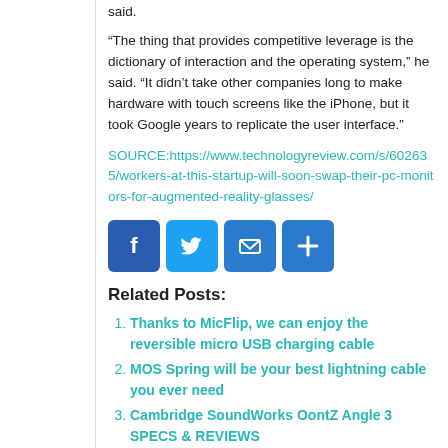said.
“The thing that provides competitive leverage is the dictionary of interaction and the operating system,” he said. “It didn’t take other companies long to make hardware with touch screens like the iPhone, but it took Google years to replicate the user interface.”
SOURCE:https://www.technologyreview.com/s/602635/workers-at-this-startup-will-soon-swap-their-pc-monitors-for-augmented-reality-glasses/
[Figure (infographic): Four social sharing icons: Facebook (blue), Twitter (light blue), Email (blue), Share/plus (blue)]
Related Posts:
Thanks to MicFlip, we can enjoy the reversible micro USB charging cable
MOS Spring will be your best lightning cable you ever need
Cambridge SoundWorks OontZ Angle 3 SPECS & REVIEWS
Xiaomi launched new USB type-C powerbank